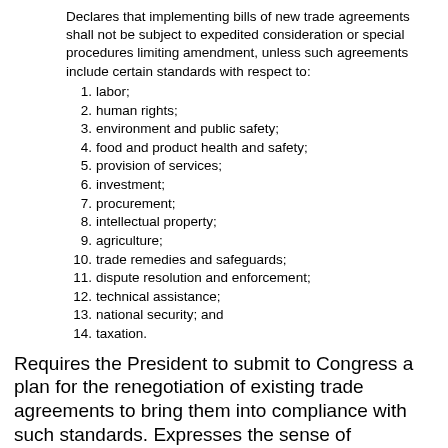Declares that implementing bills of new trade agreements shall not be subject to expedited consideration or special procedures limiting amendment, unless such agreements include certain standards with respect to:
1. labor;
2. human rights;
3. environment and public safety;
4. food and product health and safety;
5. provision of services;
6. investment;
7. procurement;
8. intellectual property;
9. agriculture;
10. trade remedies and safeguards;
11. dispute resolution and enforcement;
12. technical assistance;
13. national security; and
14. taxation.
Requires the President to submit to Congress a plan for the renegotiation of existing trade agreements to bring them into compliance with such standards. Expresses the sense of Congress that certain processes for U.S. trade negotiations should be followed when Congress considers legislation providing special procedures for implementing bills of trade agreements.
Source: TRADE Act 09-HR3012 on Jun 24, 2009
Impose tariffs against countries which manipulate currency.